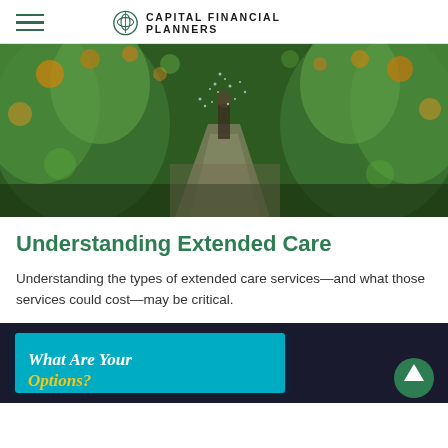CAPITAL FINANCIAL PLANNERS
[Figure (photo): Outdoor garden/orchard scene with irrigation water spraying along a green-lined pathway with bokeh-lit colorful foliage]
Understanding Extended Care
Understanding the types of extended care services—and what those services could cost—may be critical.
[Figure (photo): Close-up of a tablet screen in a dark setting showing the text 'What Are Your Options?' in white and yellow italic text on a teal background]